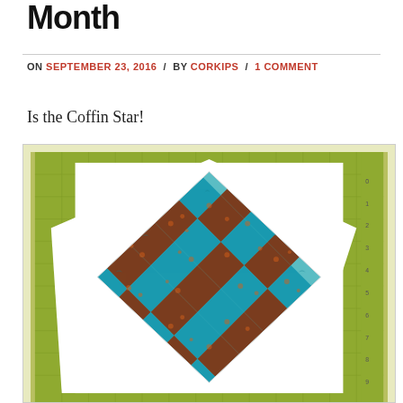Month
ON SEPTEMBER 23, 2016 / BY CORKIPS / 1 COMMENT
Is the Coffin Star!
[Figure (photo): A quilt block called 'Coffin Star' consisting of a diamond-shaped patch made of alternating teal/blue and brown/orange patterned fabric squares arranged diagonally, set on a white fabric background, placed on a green cutting mat.]